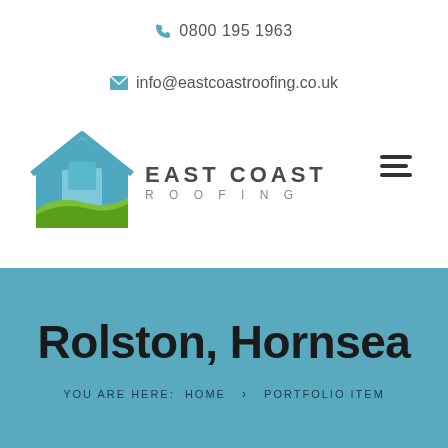0800 195 1963
info@eastcoastroofing.co.uk
[Figure (logo): East Coast Roofing logo with house icon in blue and green, and text EAST COAST ROOFING]
Rolston, Hornsea
YOU ARE HERE: HOME > PORTFOLIO ITEM